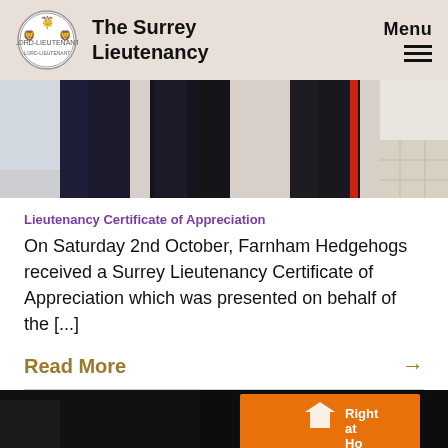The Surrey Lieutenancy | Menu
[Figure (photo): Lower halves of people in dark uniforms/clothing standing indoors]
Lieutenancy Certificate of Appreciation
On Saturday 2nd October, Farnham Hedgehogs received a Surrey Lieutenancy Certificate of Appreciation which was presented on behalf of the [...]
Read More →
[Figure (photo): Event banner/sign reading 'Right at Home' on orange background with logo, in darkened room]